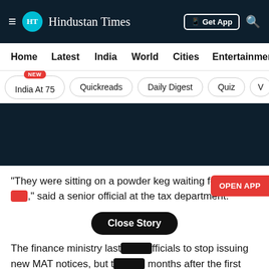Hindustan Times — Get App
Home | Latest | India | World | Cities | Entertainment
India At 75 (NEW) | Quickreads | Daily Digest | Quiz | V
"They were sitting on a powder keg waiting for it to explode," said a senior official at the tax department.
The finance ministry last week asked officials to stop issuing new MAT notices, but that came months after the first letter and roughly six weeks after a storm sparked by the sending of almost 70 initial claims totalling Rs 6 billion ($95 million).